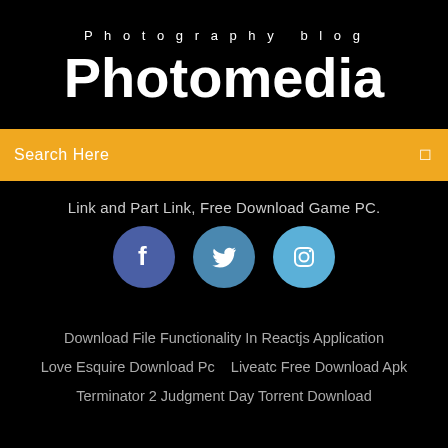Photography blog
Photomedia
Search Here
Link and Part Link, Free Download Game PC.
[Figure (illustration): Three social media icon circles: Facebook (dark blue), Twitter (medium blue), Instagram (light blue)]
Download File Functionality In Reactjs Application
Love Esquire Download Pc   Liveatc Free Download Apk
Terminator 2 Judgment Day Torrent Download